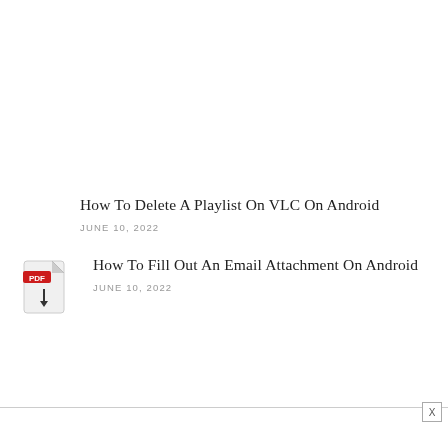How To Delete A Playlist On VLC On Android
JUNE 10, 2022
[Figure (illustration): PDF file icon with download arrow]
How To Fill Out An Email Attachment On Android
JUNE 10, 2022